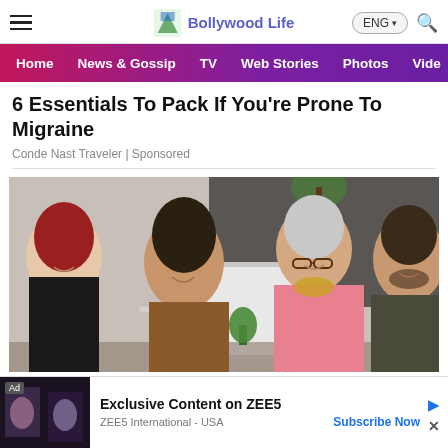Bollywood Life
Home | News & Gossip | TV | Web Stories | Photos | Video
6 Essentials To Pack If You're Prone To Migraine
Conde Nast Traveler | Sponsored
[Figure (photo): Four diverse people (three women, one man) gathered around a laptop, smiling. One woman has red hair, one has curly dark hair and a brown jacket, one has grey hair, glasses and a pink shirt, and one man has a beard wearing a dark shirt.]
Ad  Exclusive Content on ZEE5
ZEE5 International - USA   Subscribe Now